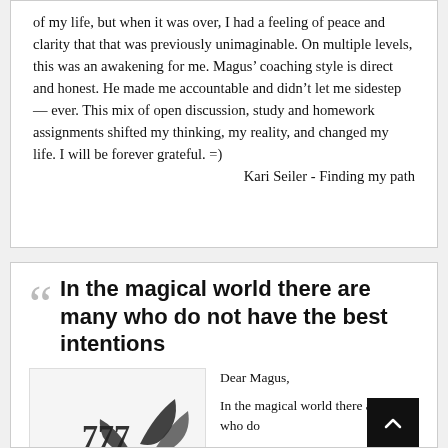of my life, but when it was over, I had a feeling of peace and clarity that that was previously unimaginable. On multiple levels, this was an awakening for me. Magus’ coaching style is direct and honest. He made me accountable and didn’t let me sidestep — ever. This mix of open discussion, study and homework assignments shifted my thinking, my reality, and changed my life. I will be forever grateful. =)
Kari Seiler - Finding my path
In the magical world there are many who do not have the best intentions
Dear Magus,
In the magical world there are many who do